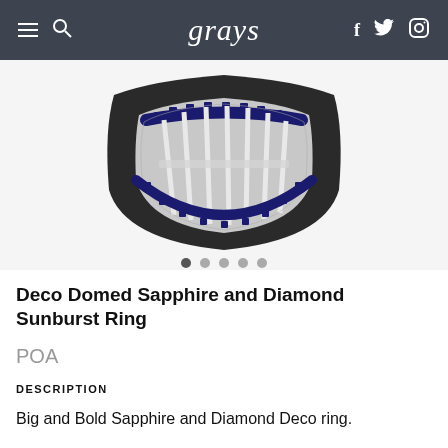grays
[Figure (photo): Close-up photograph of an Art Deco domed sapphire and diamond sunburst ring, showing the top face of the ring with sapphire border stones and diamond-set sunburst pattern on a dark metal setting, partially cropped at top]
Deco Domed Sapphire and Diamond Sunburst Ring
POA
DESCRIPTION
Big and Bold Sapphire and Diamond Deco ring.